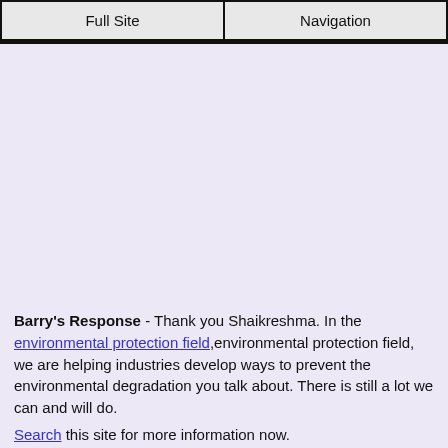Full Site | Navigation
Barry's Response - Thank you Shaikreshma. In the environmental protection field,environmental protection field, we are helping industries develop ways to prevent the environmental degradation you talk about. There is still a lot we can and will do.
Search this site for more information now.